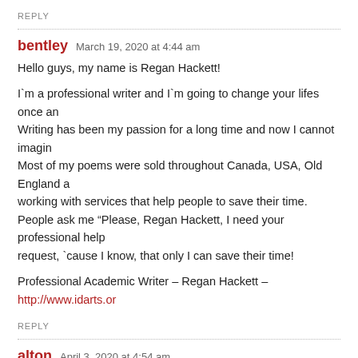REPLY
bentley   March 19, 2020 at 4:44 am
Hello guys, my name is Regan Hackett!

I`m a professional writer and I`m going to change your lifes once an... Writing has been my passion for a long time and now I cannot imagin... Most of my poems were sold throughout Canada, USA, Old England a... working with services that help people to save their time.
People ask me “Please, Regan Hackett, I need your professional help... request, `cause I know, that only I can save their time!

Professional Academic Writer – Regan Hackett – http://www.idarts.or...
REPLY
alton   April 3, 2020 at 4:54 am
Hi everyone, I'm Alton